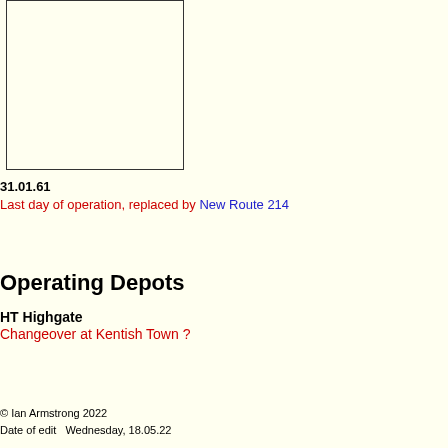[Figure (other): Partial view of a bordered rectangular box (map or timetable frame), cropped at right edge]
31.01.61
Last day of operation, replaced by New Route 214
Operating Depots
HT Highgate
Changeover at Kentish Town ?
© Ian Armstrong 2022
Date of edit   Wednesday, 18.05.22